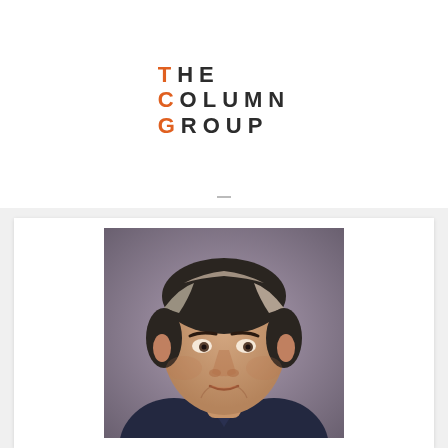[Figure (logo): The Column Group logo — stylized text with orange T, C, G letters and dark gray remaining letters arranged in three lines: THE / COLUMN / GROUP]
[Figure (photo): Professional headshot portrait of a middle-aged man with gray-streaked dark hair, wearing a dark suit, against a blurred gray background]